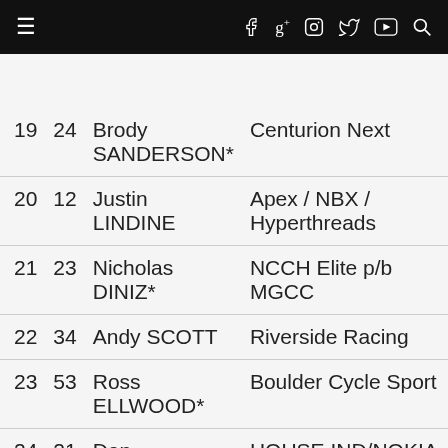Navigation bar with menu, facebook, google+, instagram, twitter, youtube, search icons
| Pos | No | Name | Team | Time |
| --- | --- | --- | --- | --- |
| 19 | 24 | Brody SANDERSON* | Centurion Next | 1:01:05 |
| 20 | 12 | Justin LINDINE | Apex / NBX / Hyperthreads | 1:01:08 |
| 21 | 23 | Nicholas DINIZ* | NCCH Elite p/b MGCC | 1:01:12 |
| 22 | 34 | Andy SCOTT | Riverside Racing | 1:01:16 |
| 23 | 53 | Ross ELLWOOD* | Boulder Cycle Sport | 1:01:28 |
| 24 | 21 | Dan CHABANOV | HOUSE IND/NOKIA HEALTH/SIMPLEHU | 1:01:57 |
| 25 | 30 | Jack TANNER* | Team Clif Bar | 1:02:13 |